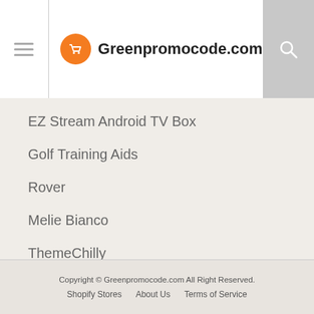Greenpromocode.com
EZ Stream Android TV Box
Golf Training Aids
Rover
Melie Bianco
ThemeChilly
Copyright © Greenpromocode.com All Right Reserved. Shopify Stores  About Us  Terms of Service